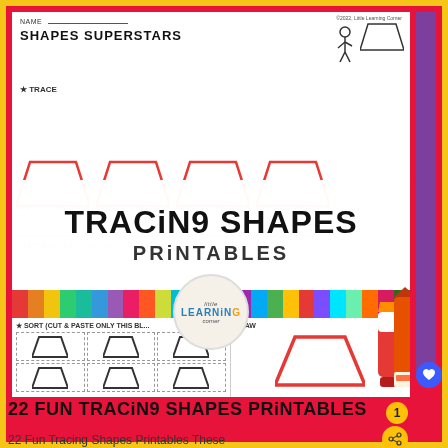[Figure (illustration): Educational worksheet product preview showing 'Shapes Superstars' tracing shapes printables for children, with trapezoid tracing exercises, a colorful crayons strip, a logo circle for 'Little Learning Corner', sort and draw sections, and a red crayon and glue stick prop.]
22 FUN TRACING SHAPES PRINTABLES
22 Fun Tracing Shapes Printables These